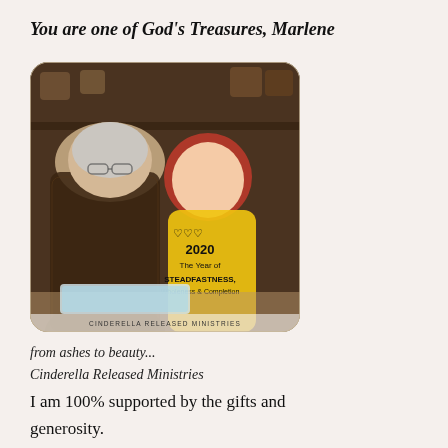You are one of God's Treasures, Marlene
[Figure (photo): Photo of an elderly woman and a young child with red hair looking at something together. The child wears a yellow top with text overlay reading: hearts 2020 The Year of STEADFASTNESS, Wholeness & Completion. Bottom caption reads: CINDERELLA RELEASED MINISTRIES.]
from ashes to beauty...
Cinderella Released Ministries
I am 100% supported by the gifts and generosity.